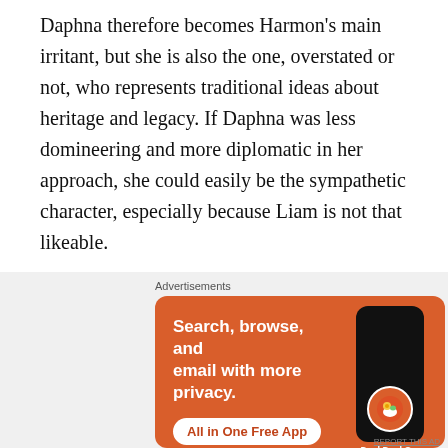Daphna therefore becomes Harmon's main irritant, but she is also the one, overstated or not, who represents traditional ideas about heritage and legacy. If Daphna was less domineering and more diplomatic in her approach, she could easily be the sympathetic character, especially because Liam is not that likeable.
Harmon made Daphna a nudnik, and Yavorsky plays the part to the hilt. The actress is willing to let her character be and remain unpopular. And she does so without a hint of self-consciousness. On the contrary, Yavorsky's Daphna is all to authentic.
[Figure (other): DuckDuckGo advertisement banner on orange background. Text reads: Search, browse, and email with more privacy. All in One Free App. Shows a smartphone with DuckDuckGo logo.]